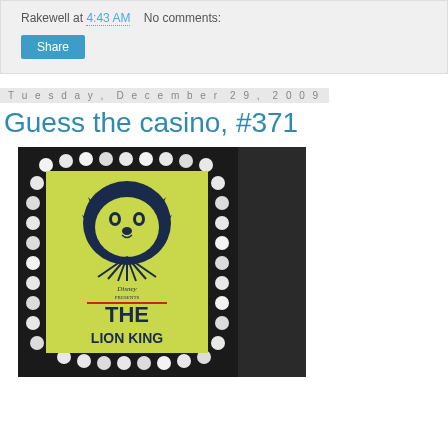Rakewell at 4:43 AM   No comments:
Share
Tuesday, December 29, 2009
Guess the casino, #371
[Figure (photo): Photo of a Lion King Broadway show marquee sign with illuminated bulbs around the border, showing the lion logo and 'Disney presents THE LION KING' text on a yellow-green background, set against a dark background.]